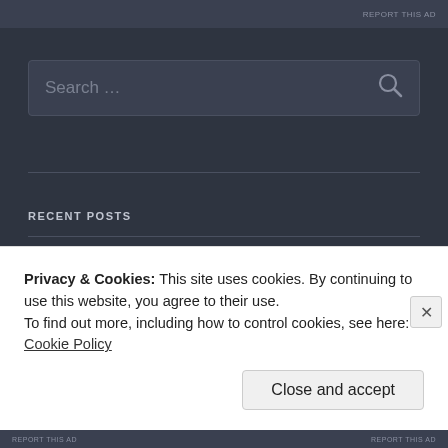REPORT THIS AD
[Figure (screenshot): Search box with placeholder text 'Search ...' and a magnifying glass icon on a dark background]
RECENT POSTS
"Bacon Gets Fried"
Duterte's Kill Zone
Privacy & Cookies: This site uses cookies. By continuing to use this website, you agree to their use.
To find out more, including how to control cookies, see here: Cookie Policy
Close and accept
REPORT THIS AD   REPORT THIS AD